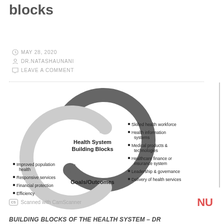blocks
MAY 28, 2020
DR.NATASHAUNANI
LEAVE A COMMENT
[Figure (flowchart): Circular diagram showing Health System Building Blocks (top circle, dark gray) connected in a cycle to Goals/Outcomes (bottom circle, light gray). Right side lists building blocks: Skilled health workforce, Health information systems, Medical products & technologies, Healthcare finance or insurance system, Leadership & governance, Delivery of health services. Left side lists goals/outcomes: Improved population health, Responsive services, Financial protection, Efficiency.]
Scanned with CamScanner  NU
BUILDING BLOCKS OF THE HEALTH SYSTEM – DR